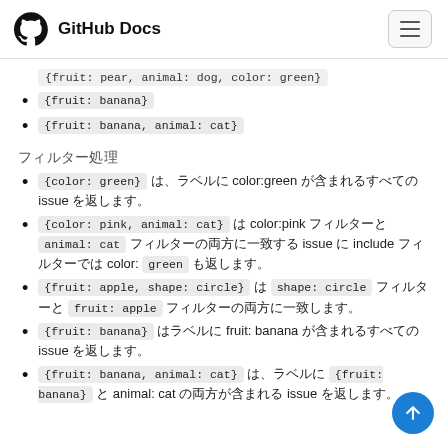GitHub Docs
{fruit: pear, animal: dog, color: green}
{fruit: banana}
{fruit: banana, animal: cat}
フィルター処理
{color: green} は、ラベルに color:green が含まれるすべての issue を返します。
{color: pink, animal: cat} は color:pink フィルターと animal: cat フィルターの両方に一致する issue を返します。include フィルターではなく color: green も返します。
{fruit: apple, shape: circle} は shape: circle フィルターと fruit: apple フィルターの両方に一致します。
{fruit: banana} はラベルに fruit: banana が含まれるすべての issue を返します。
{fruit: banana, animal: cat} は、ラベルに fruit: banana と animal: cat の両方が含まれる issue を返します。